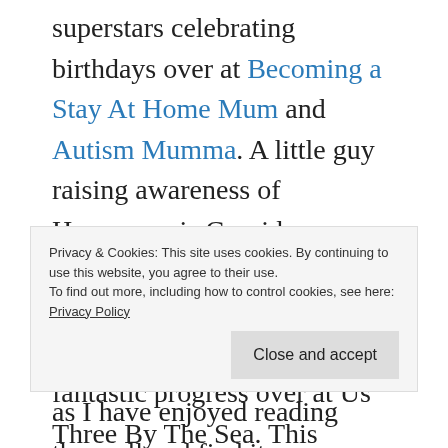superstars celebrating birthdays over at Becoming a Stay At Home Mum and Autism Mumma. A little guy raising awareness of Hyperemesis Gravidarum over at Adventures of Adam. Against all the odds this amazing guy is making fantastic progress over at Us Three By The Sea. This superstar has made fantastic progress visiting the dentist over at Soft Thistle, and lastly this little lady is enjoying her first paddle in the sea over at You Baby Me
Privacy & Cookies: This site uses cookies. By continuing to use this website, you agree to their use. To find out more, including how to control cookies, see here: Privacy Policy
Close and accept
as I have enjoyed reading them all and find it so